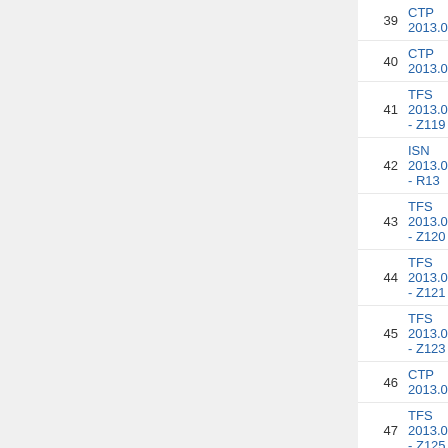39  CTP 2013.04.01
40  CTP 2013.04.08
41  TFS 2013.04.08 - Z119
42  ISN 2013.04.08 - R13
43  TFS 2013.04.12 - Z120
44  TFS 2013.04.15 - Z121
45  TFS 2013.04.17 - Z123
46  CTP 2013.04.25
47  TFS 2013.04.25 - Z125
48  TFS 2013.04.25 - Z126
49  CTP 2013.05.03
50  TFS 2013.05.03 - Z130
51  TFS 2013.05.04 - Z131
52  CTP 2013.05.07
53  CTP 2013.05.16
54  TFS 2013.05.16 - Z134
55  TFS 2013.05.20 - Z135